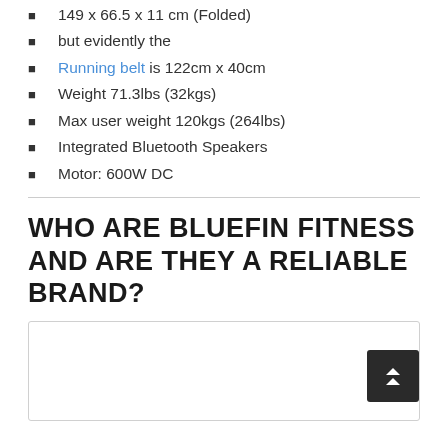149 x 66.5 x 11 cm (Folded)
but evidently the
Running belt is 122cm x 40cm
Weight 71.3lbs (32kgs)
Max user weight 120kgs (264lbs)
Integrated Bluetooth Speakers
Motor: 600W DC
WHO ARE BLUEFIN FITNESS AND ARE THEY A RELIABLE BRAND?
[Figure (photo): Image placeholder showing Bluefin Fitness brand content]